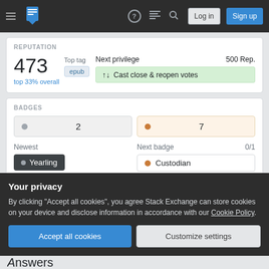Stack Exchange navigation bar with Log in and Sign up buttons
REPUTATION
473
top 33% overall
Top tag: epub
Next privilege: 500 Rep.
Cast close & reopen votes
BADGES
2 (silver) • 7 (bronze)
Newest
Yearling
Next badge 0/1
Custodian
Your privacy
By clicking "Accept all cookies", you agree Stack Exchange can store cookies on your device and disclose information in accordance with our Cookie Policy.
Accept all cookies • Customize settings
Answers